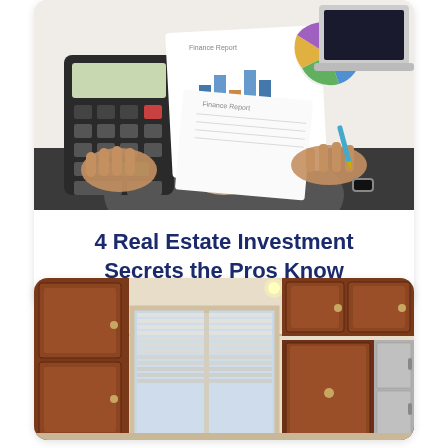[Figure (photo): Overhead view of a person using a calculator with financial charts, graphs, a pie chart, and a laptop on a white desk]
4 Real Estate Investment Secrets the Pros Know
[Figure (photo): Interior kitchen photo showing dark wood cabinets and a window with blinds]